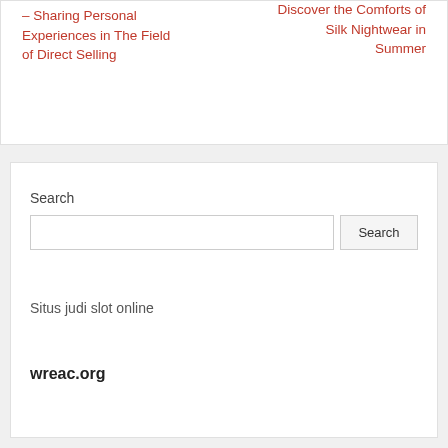– Sharing Personal Experiences in The Field of Direct Selling
Discover the Comforts of Silk Nightwear in Summer
Search
Search
Situs judi slot online
wreac.org